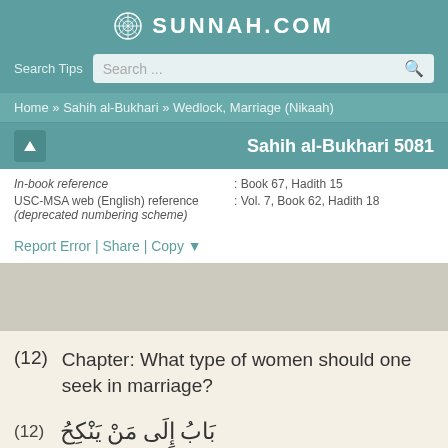SUNNAH.COM
Search Tips
Home » Sahih al-Bukhari » Wedlock, Marriage (Nikaah)
Sahih al-Bukhari 5081
In-book reference : Book 67, Hadith 15
USC-MSA web (English) reference (deprecated numbering scheme) : Vol. 7, Book 62, Hadith 18
Report Error | Share | Copy ▼
(12)  Chapter: What type of women should one seek in marriage?
(12) باب إِلَى مَنْ يَنْكِحُ